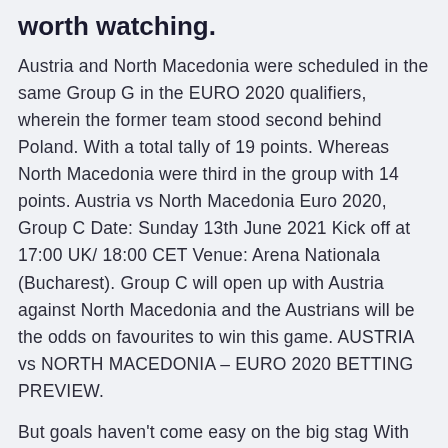worth watching.
Austria and North Macedonia were scheduled in the same Group G in the EURO 2020 qualifiers, wherein the former team stood second behind Poland. With a total tally of 19 points. Whereas North Macedonia were third in the group with 14 points. Austria vs North Macedonia Euro 2020, Group C Date: Sunday 13th June 2021 Kick off at 17:00 UK/ 18:00 CET Venue: Arena Nationala (Bucharest). Group C will open up with Austria against North Macedonia and the Austrians will be the odds on favourites to win this game. AUSTRIA vs NORTH MACEDONIA – EURO 2020 BETTING PREVIEW.
But goals haven't come easy on the big stag With just